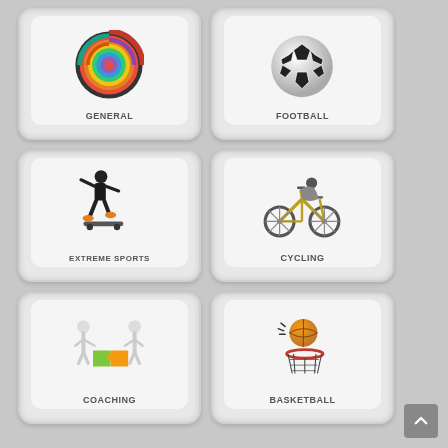[Figure (illustration): Grid of 6 sports category cards: General (colorful concentric circles), Football (soccer ball), Extreme Sports (skateboarder), Cycling (cyclist on bike), Coaching (puzzle pieces with figures), Basketball (basketball going into hoop)]
GENERAL
FOOTBALL
EXTREME SPORTS
CYCLING
COACHING
BASKETBALL